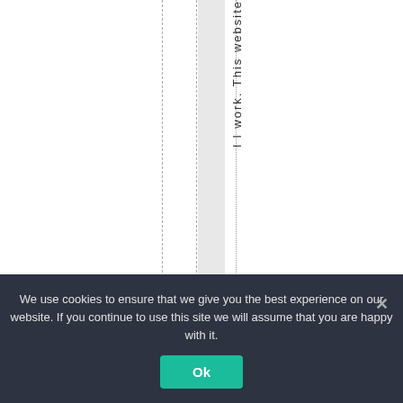[Figure (other): Vertical lines (dashed and dotted) with a light gray vertical bar, and rotated vertical text reading 'l l work. This website' running top to bottom.]
We use cookies to ensure that we give you the best experience on our website. If you continue to use this site we will assume that you are happy with it.
Ok